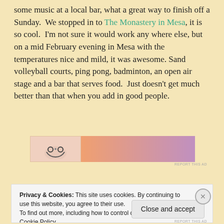some music at a local bar, what a great way to finish off a Sunday.  We stopped in to The Monastery in Mesa, it is so cool.  I'm not sure it would work any where else, but on a mid February evening in Mesa with the temperatures nice and mild, it was awesome. Sand volleyball courts, ping pong, badminton, an open air stage and a bar that serves food.  Just doesn't get much better than that when you add in good people.
[Figure (other): Partial advertisement banner with a cartoon face on left side and orange/purple gradient on right side]
Privacy & Cookies: This site uses cookies. By continuing to use this website, you agree to their use.
To find out more, including how to control cookies, see here: Cookie Policy